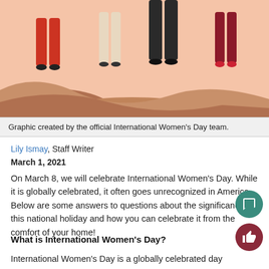[Figure (illustration): Illustration of diverse women standing together on a colorful abstract background with pink, brown and peach tones. Lower halves of figures visible — one in red pants, one in beige, one in black coat, one in dark red.]
Graphic created by the official International Women's Day team.
Lily Ismay, Staff Writer
March 1, 2021
On March 8, we will celebrate International Women's Day. While it is globally celebrated, it often goes unrecognized in America. Below are some answers to questions about the significance of this national holiday and how you can celebrate it from the comfort of your home!
What is International Women's Day?
International Women's Day is a globally celebrated day